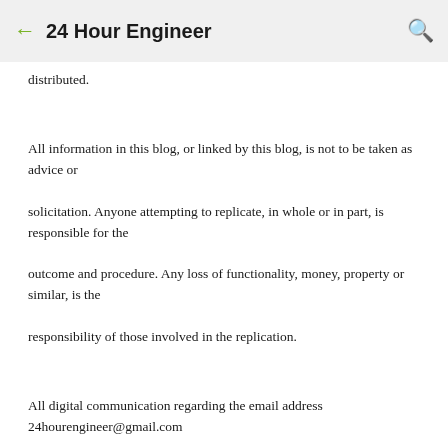← 24 Hour Engineer 🔍
distributed.
All information in this blog, or linked by this blog, is not to be taken as advice or solicitation. Anyone attempting to replicate, in whole or in part, is responsible for the outcome and procedure. Any loss of functionality, money, property or similar, is the responsibility of those involved in the replication.
All digital communication regarding the email address 24hourengineer@gmail.com becomes the intellectual property of Brian McEvoy. Any information contained within these messages may be distributed or retained at the discretion of Brian McEvoy. Any email sent to this address, or any email account owned by Brian McEvoy, cannot be used